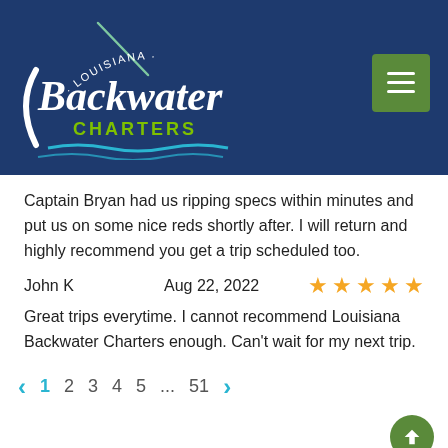[Figure (logo): Louisiana Backwater Charters logo — white cursive text 'Backwater' with green 'CHARTERS' below, arching 'LOUISIANA' text at top, fishing rod and water wave graphic, on dark navy background]
Captain Bryan had us ripping specs within minutes and put us on some nice reds shortly after. I will return and highly recommend you get a trip scheduled too.
John K   Aug 22, 2022   ★★★★★
Great trips everytime. I cannot recommend Louisiana Backwater Charters enough. Can't wait for my next trip.
< 1 2 3 4 5 ... 51 >